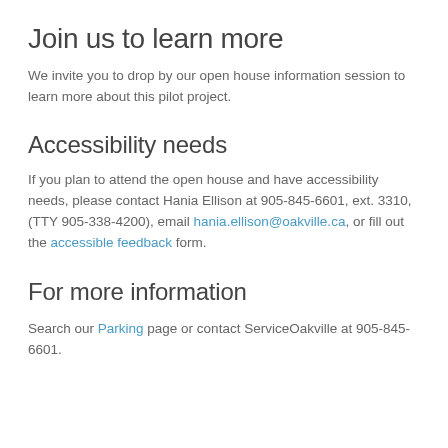Join us to learn more
We invite you to drop by our open house information session to learn more about this pilot project.
Accessibility needs
If you plan to attend the open house and have accessibility needs, please contact Hania Ellison at 905-845-6601, ext. 3310, (TTY 905-338-4200), email hania.ellison@oakville.ca, or fill out the accessible feedback form.
For more information
Search our Parking page or contact ServiceOakville at 905-845-6601.